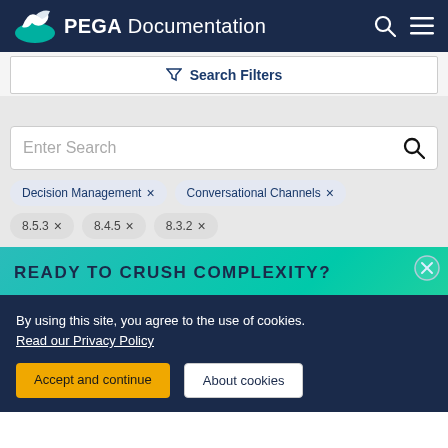PEGA Documentation
Search Filters
Enter Search
Decision Management ×
Conversational Channels ×
8.5.3 ×
8.4.5 ×
8.3.2 ×
READY TO CRUSH COMPLEXITY?
By using this site, you agree to the use of cookies.
Read our Privacy Policy
Accept and continue
About cookies